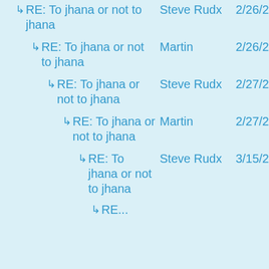RE: To jhana or not to jhana | Steve Rudx | 2/26/2
RE: To jhana or not to jhana | Martin | 2/26/2
RE: To jhana or not to jhana | Steve Rudx | 2/27/2
RE: To jhana or not to jhana | Martin | 2/27/2
RE: To jhana or not to jhana | Steve Rudx | 3/15/2